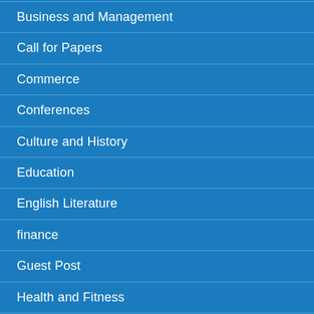Business and Management
Call for Papers
Commerce
Conferences
Culture and History
Education
English Literature
finance
Guest Post
Health and Fitness
ljr journal
Law and Order